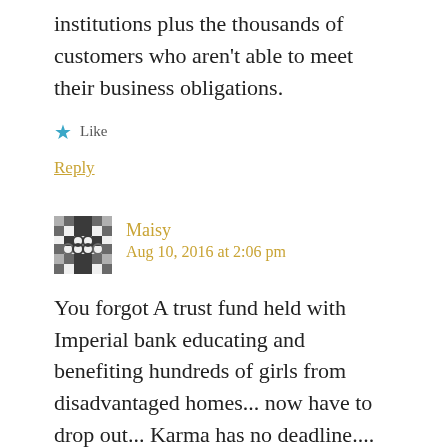institutions plus the thousands of customers who aren't able to meet their business obligations.
Like
Reply
Maisy
Aug 10, 2016 at 2:06 pm
You forgot A trust fund held with Imperial bank educating and benefiting hundreds of girls from disadvantaged homes... now have to drop out... Karma has no deadline....